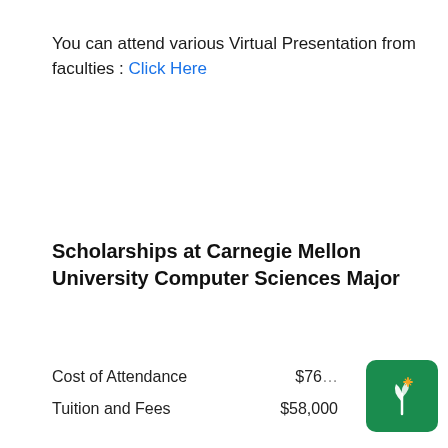You can attend various Virtual Presentation from faculties : Click Here
Scholarships at Carnegie Mellon University Computer Sciences Major
Cost of Attendance    $76[partially obscured]
Tuition and Fees    $58,000